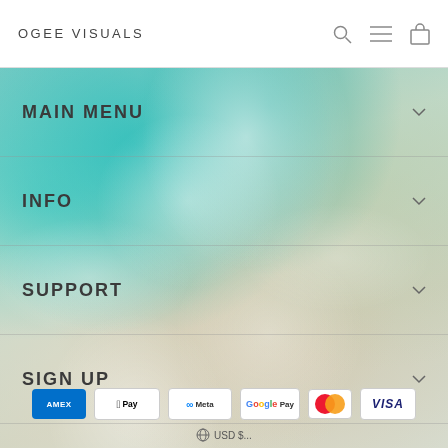OGEE VISUALS
MAIN MENU
INFO
SUPPORT
SIGN UP
[Figure (screenshot): Payment method icons row: American Express (AMEX), Apple Pay, Meta Pay, Google Pay, Mastercard, Visa]
USD $...